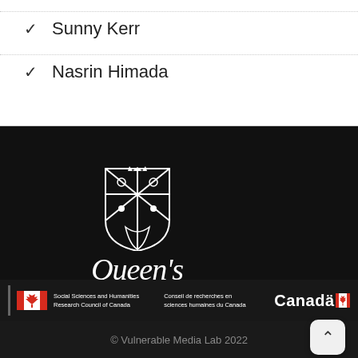✓ Sunny Kerr
✓ Nasrin Himada
[Figure (logo): Queen's University logo with shield crest and stylized italic wordmark 'Queen's University' on black background]
[Figure (logo): SSHRC / Social Sciences and Humanities Research Council of Canada banner with Canadian flag logo, English and French text, and Canada wordmark]
© Vulnerable Media Lab 2022